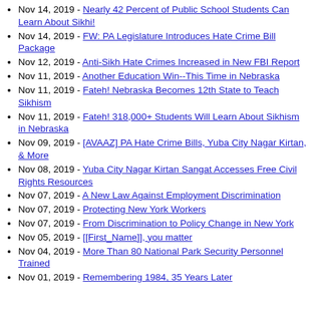Nov 14, 2019 - Nearly 42 Percent of Public School Students Can Learn About Sikhi!
Nov 14, 2019 - FW: PA Legislature Introduces Hate Crime Bill Package
Nov 12, 2019 - Anti-Sikh Hate Crimes Increased in New FBI Report
Nov 11, 2019 - Another Education Win--This Time in Nebraska
Nov 11, 2019 - Fateh! Nebraska Becomes 12th State to Teach Sikhism
Nov 11, 2019 - Fateh! 318,000+ Students Will Learn About Sikhism in Nebraska
Nov 09, 2019 - [AVAAZ] PA Hate Crime Bills, Yuba City Nagar Kirtan, & More
Nov 08, 2019 - Yuba City Nagar Kirtan Sangat Accesses Free Civil Rights Resources
Nov 07, 2019 - A New Law Against Employment Discrimination
Nov 07, 2019 - Protecting New York Workers
Nov 07, 2019 - From Discrimination to Policy Change in New York
Nov 05, 2019 - [[First_Name]], you matter
Nov 04, 2019 - More Than 80 National Park Security Personnel Trained
Nov 01, 2019 - Remembering 1984, 35 Years Later